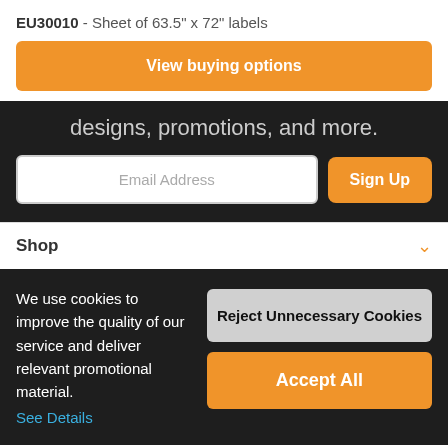EU30010 - Sheet of 63.5" x 72" labels
View buying options
designs, promotions, and more.
Email Address
Sign Up
Shop
We use cookies to improve the quality of our service and deliver relevant promotional material. See Details
Reject Unnecessary Cookies
Accept All